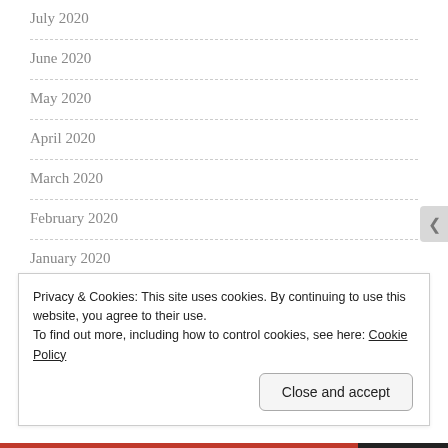July 2020
June 2020
May 2020
April 2020
March 2020
February 2020
January 2020
December 2019
Privacy & Cookies: This site uses cookies. By continuing to use this website, you agree to their use.
To find out more, including how to control cookies, see here: Cookie Policy